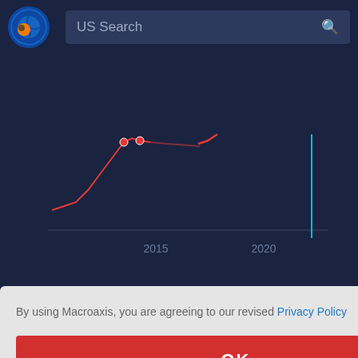[Figure (screenshot): Website header with Macroaxis logo and US Search bar]
[Figure (line-chart): Line chart showing Tangible Asset Value and Free Cash Flow over time with x-axis labels 2015 and 2020]
Tangible Asset Value  total: 18.3B
Free Cash Flow  total: 266.2M
By using Macroaxis, you are agreeing to our revised Privacy Policy
OK
that can be explained by analyzing historical patterns of